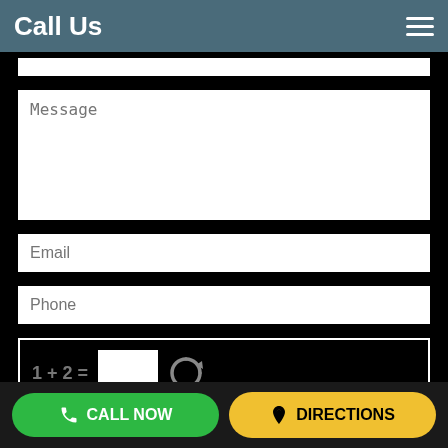Call Us
Message
Email
Phone
Submit
CALL NOW
DIRECTIONS